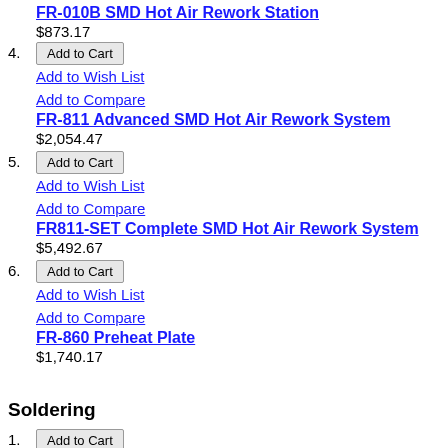FR-010B SMD Hot Air Rework Station $873.17
4. Add to Cart | Add to Wish List | Add to Compare | FR-811 Advanced SMD Hot Air Rework System $2,054.47
5. Add to Cart | Add to Wish List | Add to Compare | FR811-SET Complete SMD Hot Air Rework System $5,492.67
6. Add to Cart | Add to Wish List | Add to Compare | FR-860 Preheat Plate $1,740.17
Soldering
1. Add to Cart | Add to Wish List